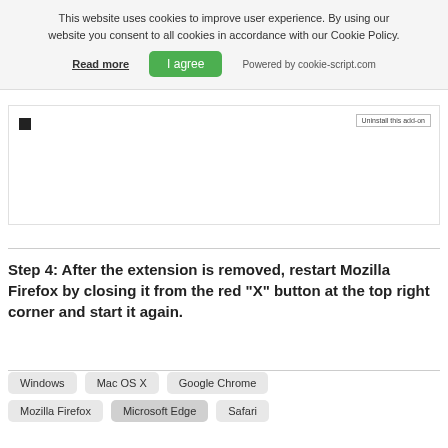This website uses cookies to improve user experience. By using our website you consent to all cookies in accordance with our Cookie Policy.
Read more
I agree
Powered by cookie-script.com
[Figure (screenshot): Screenshot of Firefox browser extension page showing a small icon and 'Uninstall this add-on' button]
Step 4: After the extension is removed, restart Mozilla Firefox by closing it from the red "X" button at the top right corner and start it again.
Windows
Mac OS X
Google Chrome
Mozilla Firefox
Microsoft Edge
Safari